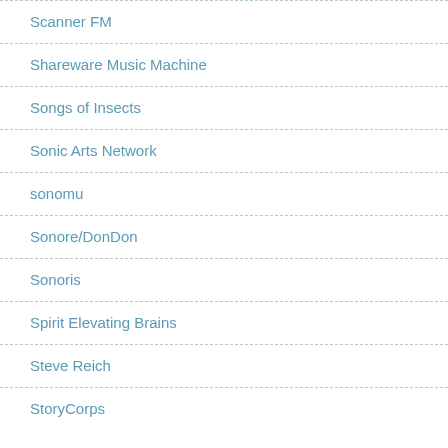Scanner FM
Shareware Music Machine
Songs of Insects
Sonic Arts Network
sonomu
Sonore/DonDon
Sonoris
Spirit Elevating Brains
Steve Reich
StoryCorps